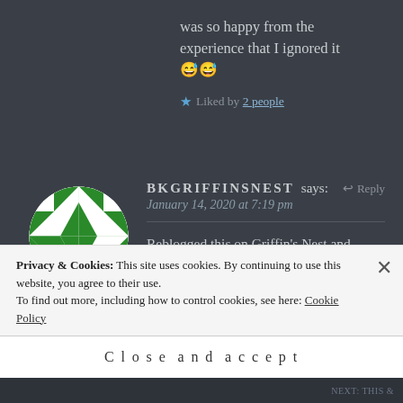was so happy from the experience that I ignored it 😅😅
★ Liked by 2 people
BKGRIFFINSNEST says: January 14, 2020 at 7:19 pm
Reblogged this on Griffin's Nest and commented:
Truly inspiring!!
Privacy & Cookies: This site uses cookies. By continuing to use this website, you agree to their use. To find out more, including how to control cookies, see here: Cookie Policy
Close and accept